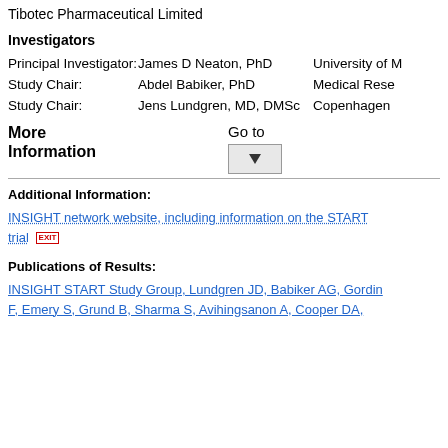Tibotec Pharmaceutical Limited
Investigators
Principal Investigator:   James D Neaton, PhD   University of M
Study Chair:   Abdel Babiker, PhD   Medical Rese
Study Chair:   Jens Lundgren, MD, DMSc   Copenhagen
More Information
Go to [dropdown]
Additional Information:
INSIGHT network website, including information on the START trial [EXIT]
Publications of Results:
INSIGHT START Study Group, Lundgren JD, Babiker AG, Gordin F, Emery S, Grund B, Sharma S, Avihingsanon A, Cooper DA,